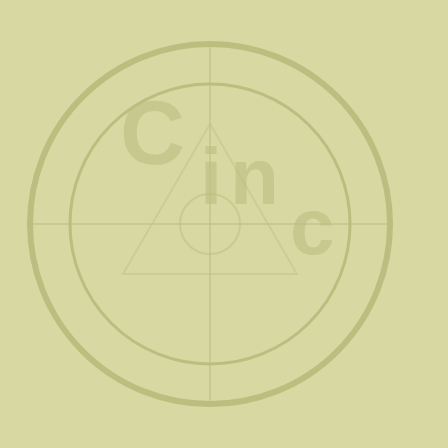[Figure (illustration): Background image with faded olive/yellow-green color and a circular logo watermark, visible on the left portion of the page]
| Artist | Album/Band | Song (truncated) |
| --- | --- | --- |
| Rob De Simone | Brothers The Band | Br… |
| Rob Lamothe | Brian Robertson | Di… |
| Rob Lamothe | Greg Chaisson | It's… |
| Rob Lamothe | Riverdogs | Ab… |
| Rob Lamothe | Riverdogs | Bo… |
| Rob Lamothe | Riverdogs | Ca… |
| Rob Lamothe | Riverdogs | Ri… |
| Rob Lamothe | Riverdogs | W… |
| Rob LeMothe | Sarge | Sa… |
| Rob Moratti | Acacia Avenue | Co… |
| Rob Moratti | Acacia Avenue | Ea… |
| Rob Moratti | Final Frontier | Fi… |
| Rob Moratti | Final Frontier | Fr… |
| Rob Moratti | Final Frontier | Hi… |
| Rob Moratti | Final Frontier | Th… |
| Rob Moratti | Rob Moratti | Pa… |
| Rob Moratti | Rob Moratti | Re… |